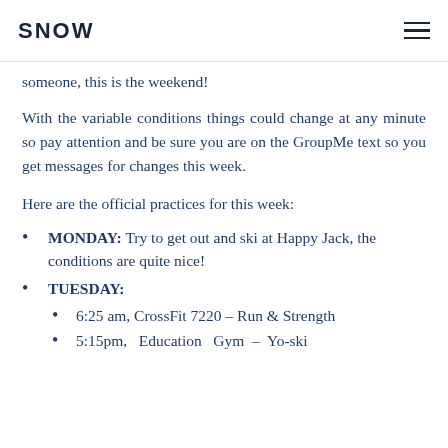SNOW
someone, this is the weekend!
With the variable conditions things could change at any minute so pay attention and be sure you are on the GroupMe text so you get messages for changes this week.
Here are the official practices for this week:
MONDAY: Try to get out and ski at Happy Jack, the conditions are quite nice!
TUESDAY:
6:25 am, CrossFit 7220 – Run & Strength
5:15pm, Education Gym – Yo-ski